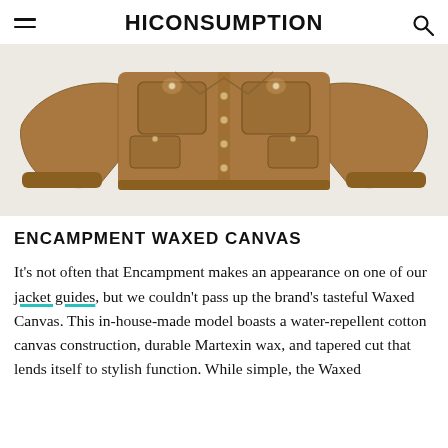HICONSUMPTION
[Figure (photo): A tan/camel waxed canvas jacket with multiple front pockets and button closure, displayed flat on a light background.]
ENCAMPMENT WAXED CANVAS
It's not often that Encampment makes an appearance on one of our jacket guides, but we couldn't pass up the brand's tasteful Waxed Canvas. This in-house-made model boasts a water-repellent cotton canvas construction, durable Martexin wax, and tapered cut that lends itself to stylish function. While simple, the Waxed